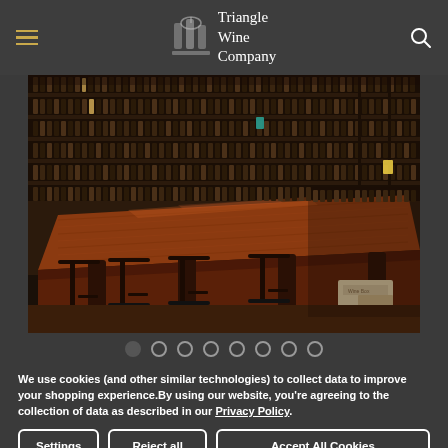Triangle Wine Company
[Figure (photo): Interior of Triangle Wine Company store showing a long wooden bar/counter with bar stools, surrounded by shelves full of wine bottles]
We use cookies (and other similar technologies) to collect data to improve your shopping experience.By using our website, you're agreeing to the collection of data as described in our Privacy Policy.
Settings | Reject all | Accept All Cookies